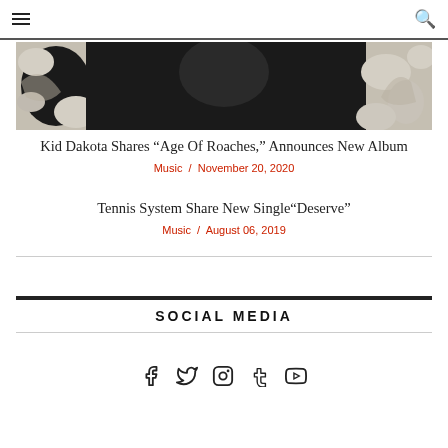≡ [menu] / [search]
[Figure (photo): Hero image of a person against a black and white floral/botanical patterned background]
Kid Dakota Shares “Age Of Roaches,” Announces New Album
Music / November 20, 2020
Tennis System Share New Single“Deserve”
Music / August 06, 2019
SOCIAL MEDIA
[Figure (infographic): Social media icons: Facebook, Twitter, Instagram, Tumblr, YouTube]